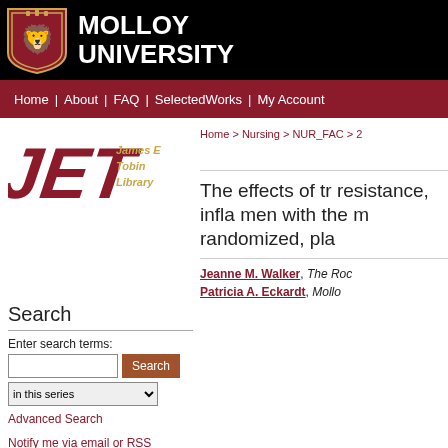[Figure (logo): Molloy University logo with shield and text on black background]
MOLLOY UNIVERSITY
Home | About | FAQ | SelectedWorks | My Account
[Figure (logo): JET James E Tobin Library logo in red and gold italic text]
Home > Nursing > NUR_FAC > 2
Search
Enter search terms:
in this series
Advanced Search
Notify me via email or RSS
Browse
The effects of tr resistance, infla men with the m randomized, pla
Jeanne M. Walker, The Roc Patricia A. Eckardt, Mollo